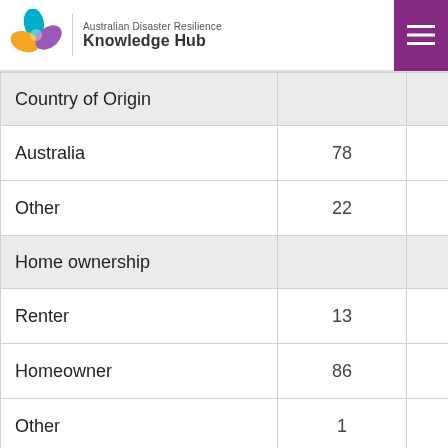Australian Disaster Resilience Knowledge Hub
|  |  |  |  |
| --- | --- | --- | --- |
| Country of Origin |  |  |  |
| Australia | 78 | 74 | 78 |
| Other | 22 | 26 | 22 |
| Home ownership |  |  |  |
| Renter | 13 | 21 | 12 |
| Homeowner | 86 | 79 | 87 |
| Other | 1 | 0 | 1 |
| Income per year |  |  |  |
| $156,000 or greater | 13 | 12 | 13 |